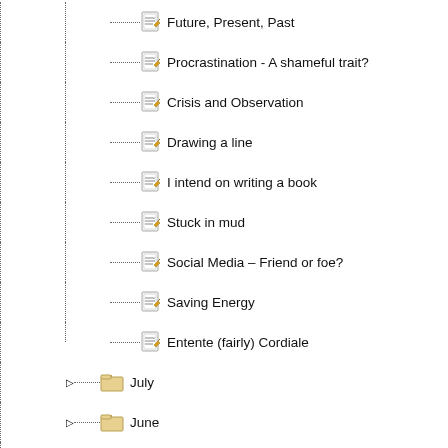Future, Present, Past
Procrastination - A shameful trait?
Crisis and Observation
Drawing a line
I intend on writing a book
Stuck in mud
Social Media – Friend or foe?
Saving Energy
Entente (fairly) Cordiale
July
June
May
April
March
February
January
2021